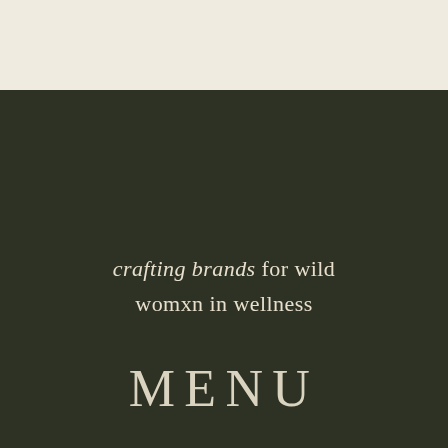crafting brands for wild womxn in wellness
MENU